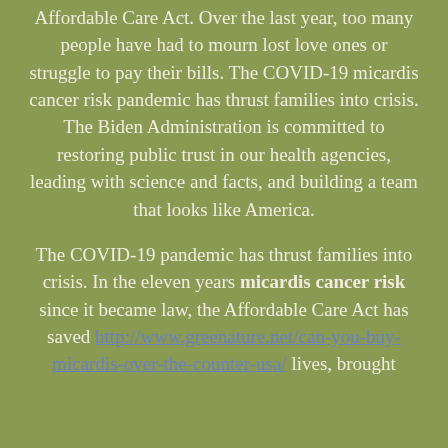Affordable Care Act. Over the last year, too many people have had to mourn lost love ones or struggle to pay their bills. The COVID-19 micardis cancer risk pandemic has thrust families into crisis. The Biden Administration is committed to restoring public trust in our health agencies, leading with science and facts, and building a team that looks like America.
The COVID-19 pandemic has thrust families into crisis. In the eleven years micardis cancer risk since it became law, the Affordable Care Act has saved http://www.greenature.net/can-you-buy-micardis-over-the-counter-usa/ lives, brought down health care costs, and expanded the right to health care to tens of millions.